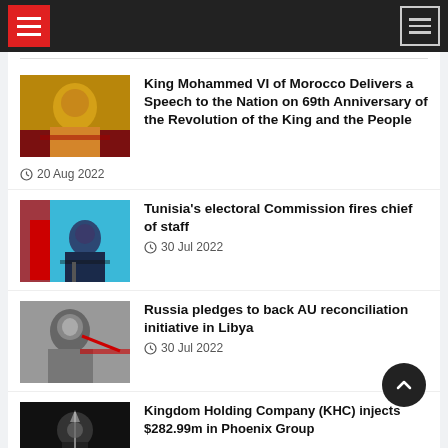News website header with hamburger menus
[Figure (photo): Photo of King Mohammed VI of Morocco seated at a desk]
King Mohammed VI of Morocco Delivers a Speech to the Nation on 69th Anniversary of the Revolution of the King and the People
20 Aug 2022
[Figure (photo): Photo of a man at a podium with microphone, Tunisian flag in background]
Tunisia's electoral Commission fires chief of staff
30 Jul 2022
[Figure (photo): Photo of a man adjusting his glasses]
Russia pledges to back AU reconciliation initiative in Libya
30 Jul 2022
[Figure (photo): Dark photo with light fixture]
Kingdom Holding Company (KHC) injects $282.99m in Phoenix Group